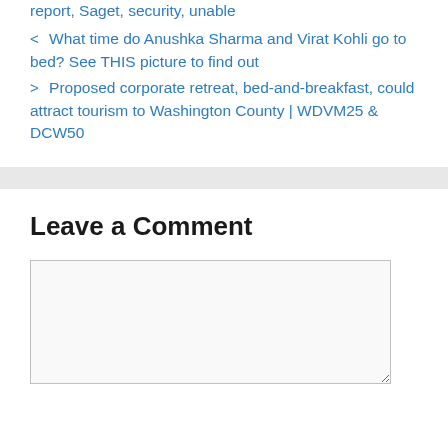report, Saget, security, unable
< What time do Anushka Sharma and Virat Kohli go to bed? See THIS picture to find out
> Proposed corporate retreat, bed-and-breakfast, could attract tourism to Washington County | WDVM25 & DCW50
Leave a Comment